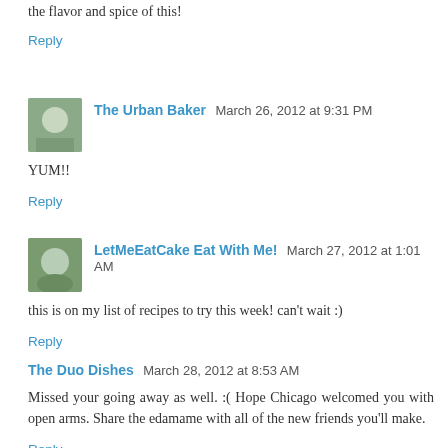the flavor and spice of this!
Reply
The Urban Baker  March 26, 2012 at 9:31 PM
YUM!!
Reply
LetMeEatCake Eat With Me!  March 27, 2012 at 1:01 AM
this is on my list of recipes to try this week! can't wait :)
Reply
The Duo Dishes  March 28, 2012 at 8:53 AM
Missed your going away as well. :( Hope Chicago welcomed you with open arms. Share the edamame with all of the new friends you'll make.
Reply